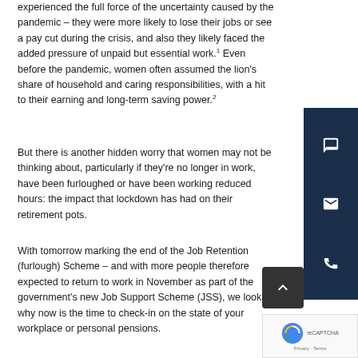experienced the full force of the uncertainty caused by the pandemic – they were more likely to lose their jobs or see a pay cut during the crisis, and also they likely faced the added pressure of unpaid but essential work.1 Even before the pandemic, women often assumed the lion's share of household and caring responsibilities, with a hit to their earning and long-term saving power.2
But there is another hidden worry that women may not be thinking about, particularly if they're no longer in work, have been furloughed or have been working reduced hours: the impact that lockdown has had on their retirement pots.
With tomorrow marking the end of the Job Retention (furlough) Scheme – and with more people therefore expected to return to work in November as part of the government's new Job Support Scheme (JSS), we look at why now is the time to check-in on the state of your workplace or personal pensions.